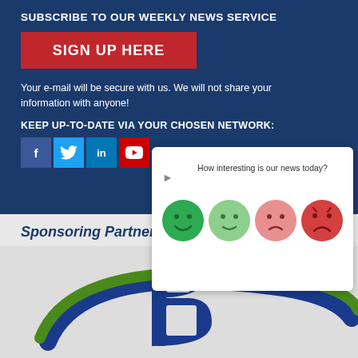SUBSCRIBE TO OUR WEEKLY NEWS SERVICE
SIGN UP HERE
Your e-mail will be secure with us. We will not share your information with anyone!
KEEP UP-TO-DATE VIA YOUR CHOSEN NETWORK:
[Figure (infographic): Social media icons: Facebook, Twitter, LinkedIn, YouTube]
[Figure (infographic): Feedback popup asking 'How interesting is our news today?' with four emoji faces ranging from very happy (green) to very sad (red)]
Sponsoring Partners
[Figure (logo): Circular blue and green company logo, large stylized letter B with swoosh design]